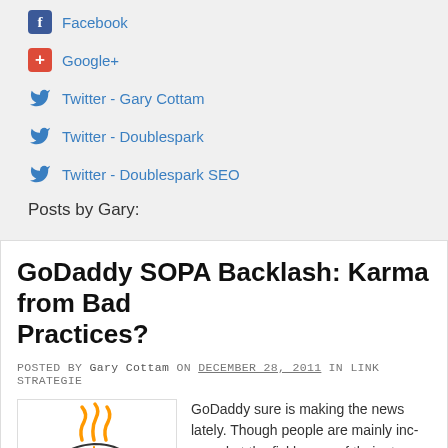Facebook
Google+
Twitter - Gary Cottam
Twitter - Doublespark
Twitter - Doublespark SEO
Posts by Gary:
GoDaddy SOPA Backlash: Karma from Bad Practices?
POSTED BY Gary Cottam ON DECEMBER 28, 2011 IN LINK STRATEGIES
[Figure (illustration): GoDaddy cartoon ghost logo with steam coming from top and green glasses]
GoDaddy sure is making the news lately. Though people are mainly incensed at the fickleness of their stance on the SOPA (Stop Piracy Act), what has been plaguing my head is Joost deValk's po...